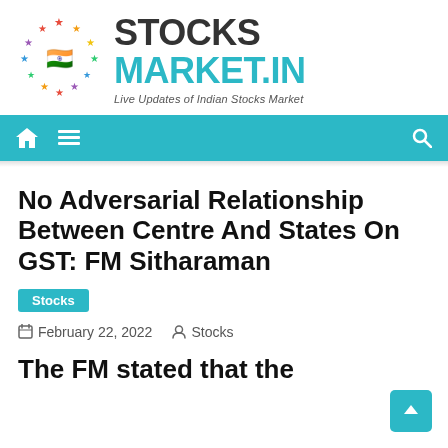[Figure (logo): StocksMarket.in logo with colorful stars arranged in a circle around an Indian flag emoji, and bold text reading STOCKS MARKET.IN with tagline Live Updates of Indian Stocks Market]
Navigation bar with home icon, menu icon, and search icon on teal/cyan background
No Adversarial Relationship Between Centre And States On GST: FM Sitharaman
Stocks
February 22, 2022  Stocks
The FM stated that the